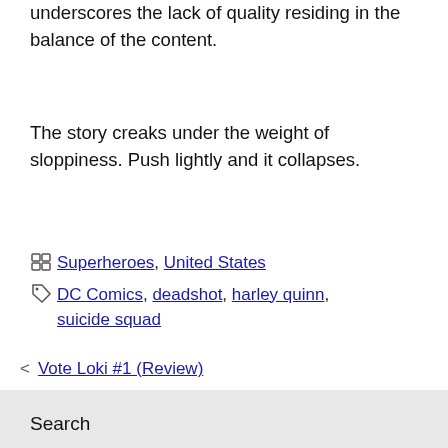underscores the lack of quality residing in the balance of the content.
The story creaks under the weight of sloppiness. Push lightly and it collapses.
Categories: Superheroes, United States
Tags: DC Comics, deadshot, harley quinn, suicide squad
< Vote Loki #1 (Review)
> The Dark Knight Returns: The Last Crusade (REVIEW)
Search